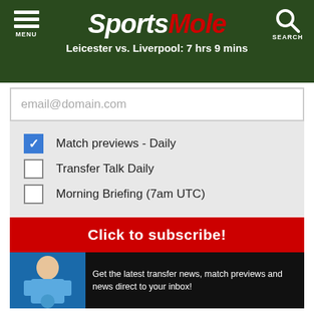SportsMole - Leicester vs. Liverpool: 7 hrs 9 mins
email@domain.com
Match previews - Daily
Transfer Talk Daily
Morning Briefing (7am UTC)
Click to subscribe!
Get the latest transfer news, match previews and news direct to your inbox!
Failed to load data.